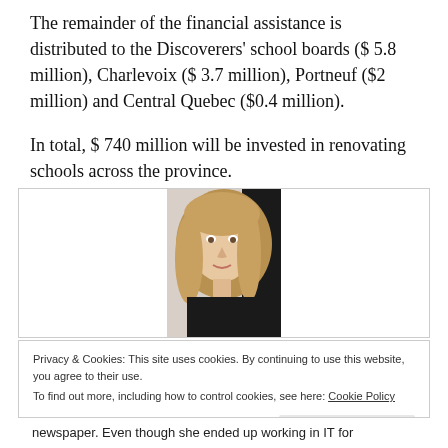The remainder of the financial assistance is distributed to the Discoverers' school boards ($ 5.8 million), Charlevoix ($ 3.7 million), Portneuf ($2 million) and Central Quebec ($0.4 million).
In total, $ 740 million will be invested in renovating schools across the province.
[Figure (photo): Portrait photo of a woman with blonde hair wearing a dark top, against a light background with dark area on right side]
Privacy & Cookies: This site uses cookies. By continuing to use this website, you agree to their use.
To find out more, including how to control cookies, see here: Cookie Policy
newspaper. Even though she ended up working in IT for